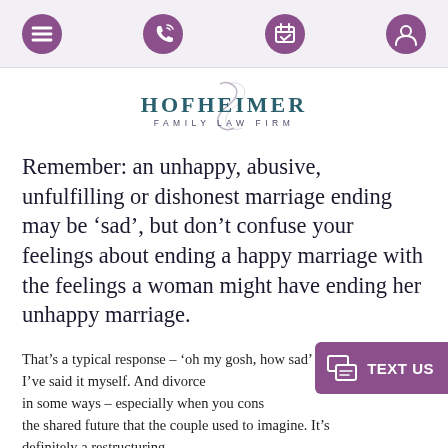Navigation bar with menu, phone, calendar, and account icons
[Figure (logo): Hofheimer Family Law Firm logo with stylized H monogram in cursive, text HOFHEIMER in dark teal serif caps and FAMILY LAW FIRM in spaced small caps below]
Remember: an unhappy, abusive, unfulfilling or dishonest marriage ending may be ‘sad’, but don’t confuse your feelings about ending a happy marriage with the feelings a woman might have ending her unhappy marriage.
That’s a typical response – ‘oh my gosh, how sad’ – and, I won’t lie, I’ve said it myself. And divorce is in some ways – especially when you consider the shared future that the couple used to imagine. It’s definitely a restructuring.